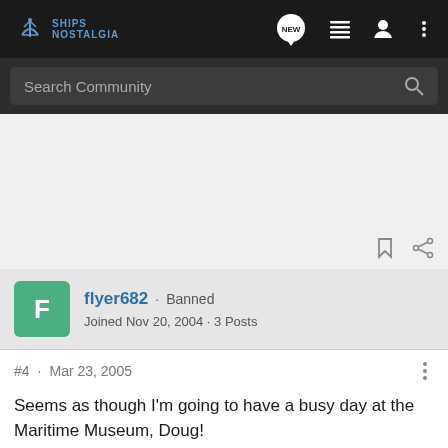Ships Nostalgia
Search Community
flyer682 · Banned
Joined Nov 20, 2004 · 3 Posts
#4 · Mar 23, 2005
Seems as though I'm going to have a busy day at the Maritime Museum, Doug!